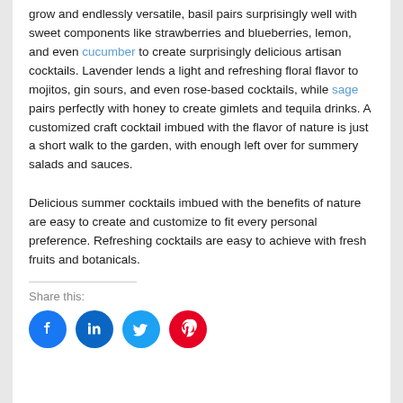grow and endlessly versatile, basil pairs surprisingly well with sweet components like strawberries and blueberries, lemon, and even cucumber to create surprisingly delicious artisan cocktails. Lavender lends a light and refreshing floral flavor to mojitos, gin sours, and even rose-based cocktails, while sage pairs perfectly with honey to create gimlets and tequila drinks. A customized craft cocktail imbued with the flavor of nature is just a short walk to the garden, with enough left over for summery salads and sauces.
Delicious summer cocktails imbued with the benefits of nature are easy to create and customize to fit every personal preference. Refreshing cocktails are easy to achieve with fresh fruits and botanicals.
Share this: